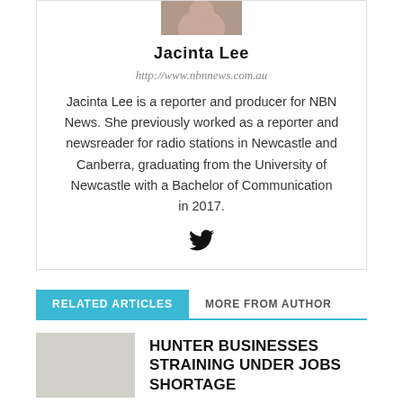[Figure (photo): Author photo of Jacinta Lee (partial, cropped at top)]
Jacinta Lee
http://www.nbnnews.com.au
Jacinta Lee is a reporter and producer for NBN News. She previously worked as a reporter and newsreader for radio stations in Newcastle and Canberra, graduating from the University of Newcastle with a Bachelor of Communication in 2017.
[Figure (logo): Twitter bird icon]
RELATED ARTICLES   MORE FROM AUTHOR
HUNTER BUSINESSES STRAINING UNDER JOBS SHORTAGE
MANNERING PARK LOCALS STILL FINDING DEAD MARINE LIFE